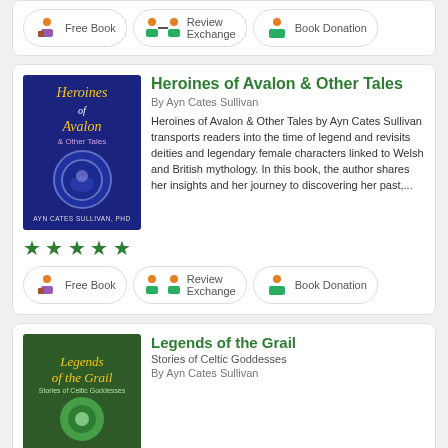Free Book
Review Exchange
Book Donation
Heroines of Avalon & Other Tales
By Ayn Cates Sullivan
Heroines of Avalon & Other Tales by Ayn Cates Sullivan transports readers into the time of legend and revisits deities and legendary female characters linked to Welsh and British mythology. In this book, the author shares her insights and her journey to discovering her past,...
Free Book
Review Exchange
Book Donation
Legends of the Grail
Stories of Celtic Goddesses
By Ayn Cates Sullivan
Once in a great while, a book of profound insight comes